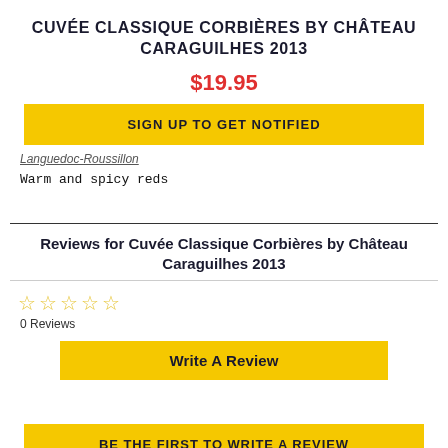CUVÉE CLASSIQUE CORBIÈRES BY CHÂTEAU CARAGUILHES 2013
$19.95
SIGN UP TO GET NOTIFIED
Languedoc-Roussillon
Warm and spicy reds
Reviews for Cuvée Classique Corbières by Château Caraguilhes 2013
0 Reviews
Write A Review
BE THE FIRST TO WRITE A REVIEW